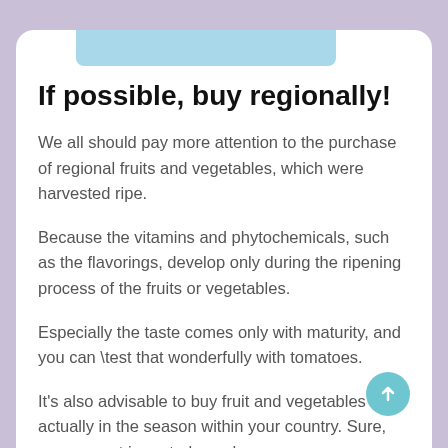[Figure (other): Light blue decorative bar at top of card]
If possible, buy regionally!
We all should pay more attention to the purchase of regional fruits and vegetables, which were harvested ripe.
Because the vitamins and phytochemicals, such as the flavorings, develop only during the ripening process of the fruits or vegetables.
Especially the taste comes only with maturity, and you can \test that wonderfully with tomatoes.
It's also advisable to buy fruit and vegetables that actually in the season within your country. Sure, you can get imported peaches even on Christmas...